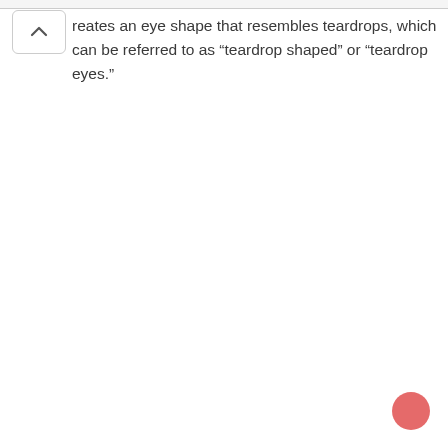reates an eye shape that resembles teardrops, which can be referred to as “teardrop shaped” or “teardrop eyes.”